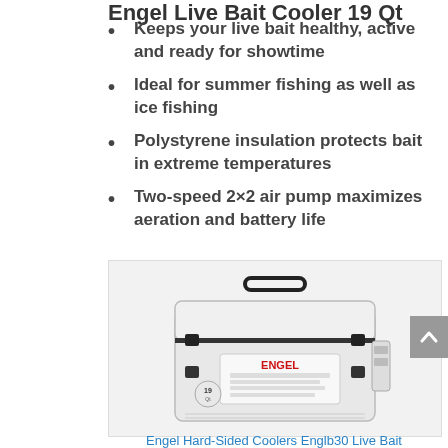Engel Live Bait Cooler 19 Qt
Keeps your live bait healthy, active and ready for showtime
Ideal for summer fishing as well as ice fishing
Polystyrene insulation protects bait in extreme temperatures
Two-speed 2×2 air pump maximizes aeration and battery life
[Figure (photo): White Engel Hard-Sided Cooler with black latches, handle, and side-mounted air pump unit with ENGEL branding and product label on the front]
Engel Hard-Sided Coolers Englb30 Live Bait